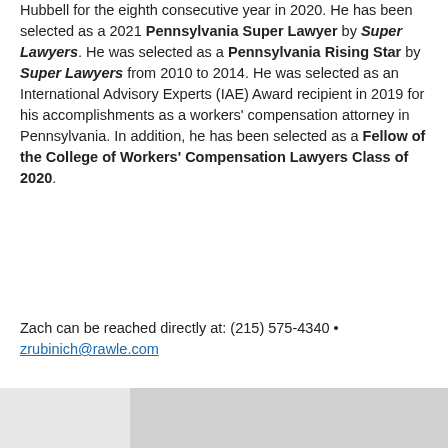Hubbell for the eighth consecutive year in 2020. He has been selected as a 2021 Pennsylvania Super Lawyer by Super Lawyers. He was selected as a Pennsylvania Rising Star by Super Lawyers from 2010 to 2014. He was selected as an International Advisory Experts (IAE) Award recipient in 2019 for his accomplishments as a workers' compensation attorney in Pennsylvania. In addition, he has been selected as a Fellow of the College of Workers' Compensation Lawyers Class of 2020.
Zach can be reached directly at: (215) 575-4340 • zrubinich@rawle.com